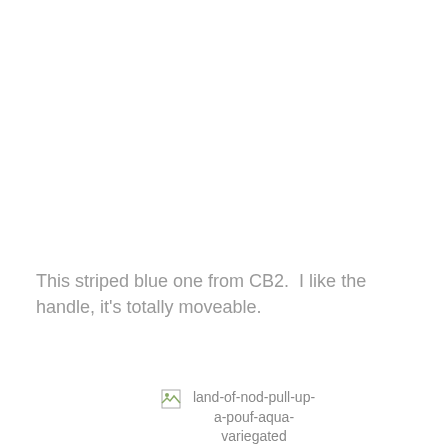This striped blue one from CB2.  I like the handle, it's totally moveable.
[Figure (photo): Broken image placeholder with alt text: land-of-nod-pull-up-a-pouf-aqua-variegated]